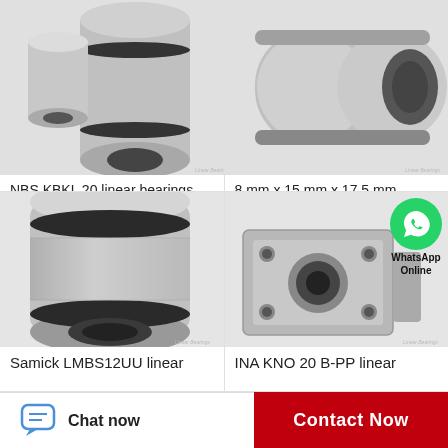[Figure (photo): Photo of NBS KBKL 20 linear bearing - cylindrical metal bearing component]
NBS KBKL 20 linear bearings
[Figure (photo): Photo of Samick LM8AJ linear bearing - elongated cylindrical metal bearing]
8 mm x 15 mm x 17,5 mm Samick LM8AJ linear…
[Figure (photo): Photo of Samick LMBS12UU linear bearing - large cylindrical metal bearing with black seal rings]
Samick LMBS12UU linear
[Figure (photo): Photo of INA KNO 20 B-PP linear bearing - square flange bearing with WhatsApp Online overlay]
INA KNO 20 B-PP linear
Chat now
Contact Now